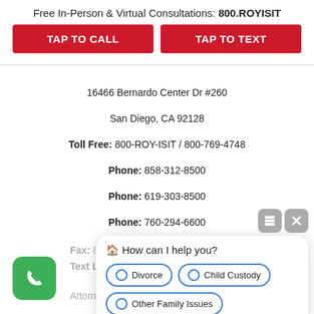Free In-Person & Virtual Consultations: 800.ROYISIT
[Figure (screenshot): Two red call-to-action buttons: TAP TO CALL and TAP TO TEXT]
16466 Bernardo Center Dr #260
San Diego, CA 92128
Toll Free: 800-ROY-ISIT / 800-769-4748
Phone: 858-312-8500
Phone: 619-303-8500
Phone: 760-294-6600
Fax: 858-618-5514
Text Line: 858-880-6689
[Figure (screenshot): Green phone icon button and a chat popup overlay saying 'How can I help you?' with options: Divorce, Child Custody, Other Family Issues]
Attorney advertising
Home